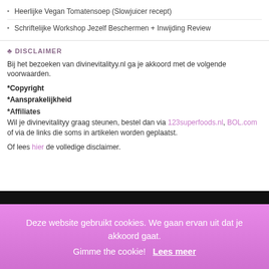Heerlijke Vegan Tomatensoep (Slowjuicer recept)
Schriftelijke Workshop Jezelf Beschermen + Inwijding Review
♣ DISCLAIMER
Bij het bezoeken van divinevitalityy.nl ga je akkoord met de volgende voorwaarden.
*Copyright
*Aansprakelijkheid
*Affiliates
Wil je divinevitalityy graag steunen, bestel dan via 123superfoods.nl, BOL.com of via de links die soms in artikelen worden geplaatst.
Of lees hier de volledige disclaimer.
Deze website gebruikt cookies. We gaan ervan uit dat je akkoord gaat. Gimme the cookie! Lees meer